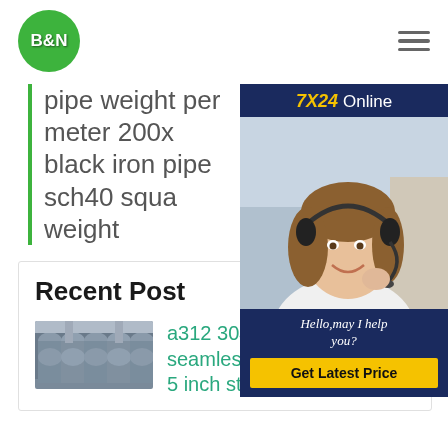[Figure (logo): B&N logo: white bold text on green circle]
pipe weight per meter 200x black iron pipe sch40 squa weight
[Figure (infographic): 7X24 Online widget with customer service agent photo, Hello may I help you? text, and Get Latest Price button]
Recent Post
[Figure (photo): Photo of steel pipes stacked in a warehouse]
a312 304 316 321 seamless 1 5 inch steel pipe